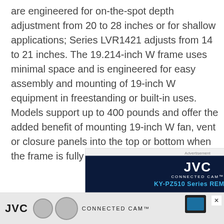are engineered for on-the-spot depth adjustment from 20 to 28 inches or for shallow applications; Series LVR1421 adjusts from 14 to 21 inches. The 19.214-inch W frame uses minimal space and is engineered for easy assembly and mounting of 19-inch W equipment in freestanding or built-in uses. Models support up to 400 pounds and offer the added benefit of mounting 19-inch W fan, vent or closure panels into the top or bottom when the frame is fully expanded.
[Figure (other): JVC Connected Cam advertisement banner showing JVC logo, CONNECTED CAM text, KY-PZ510 Series REMI PTZ text on dark navy background]
[Figure (other): Bottom banner advertisement for JVC Connected Cam with camera images and small TV screen graphic]